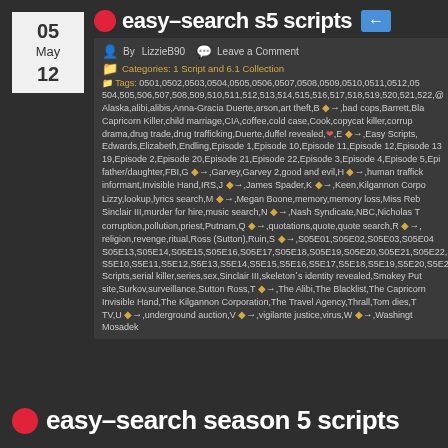easy-search s5 scripts ←
By LizzieB90  Leave a Comment
Categories: 1 Script and 6.1 Collection
Tags: 0501, 0502, 0503, 0504, 0505, 0506, 0507, 0508, 0509, 0510, 0511, 0512, 05... 504, 505, 506, 507, 508, 509, 510, 511, 512, 513, 514, 515, 516, 517, 518, 519, 520, 521, 522, @... Alaska, alibi, alibis, Anna-Gracia Duerte, arson, art theft, B ◆→, bad cops, Barrett, Bla... Capricorn Killer, child marriage, CIA, coffee, cold case, Cook, copycat killer, corrup... drama, drug trade, drug trafficking, Duerte, duffel revealed, ❤, E ◆→, Easy Scripts,... Edwards, Elizabeth, Endling, Episode 1, Episode 10, Episode 11, Episode 12, Episode 13... 19, Episode 2, Episode 20, Episode 21, Episode 22, Episode 3, Episode 4, Episode 5, Epi... father/daughter, FBI, G ◆→, Garvey, Garvey 2, good and evil, H ◆→, human traffick... informant, Invisible Hand, IRS, J ◆→, James Spader, K ◆→, Keen, Kilgannon Corpo... Lizzy, lookup, lyrics search, M ◆→, Megan Boone, memory, memory loss, Miss Reb... Sinclair III, murder for hire, music search, N ◆→, Nash Syndicate, NBC, Nicholas T... corruption, pollution, priest, Putnam, Q ◆→, quotations, quote, quote search, R ◆→, R... religion, revenge, ritual, Ross (Sutton), Ruin, S ◆→, S05E01, S05E02, S05E03, S05E04... S05E13, S05E14, S05E15, S05E16, S05E17, S05E18, S05E19, S05E20, S05E21, S05E22, S... S5E10, S5E11, S5E12, S5E13, S5E14, S5E15, S5E16, S5E17, S5E18, S5E19, S5E20, S5E21, S5... Scripts, serial killer, series, sex, Sinclair III, skeleton's identity revealed, Smokey Put... site, Surkov, surveillance, Sutton Ross, T ◆→, The Alibi, The Blacklist, The Capricorn... Invisible Hand, The Kilgannon Corporation, The Travel Agency, Thrall, Tom dies, T... TV, U ◆→, underground auction, V ◆→, vigilante justice, virus, W ◆→, Washingt... Mosadek
easy-search season 5 scripts